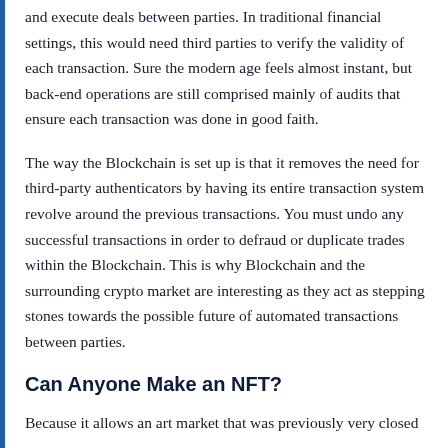and execute deals between parties. In traditional financial settings, this would need third parties to verify the validity of each transaction. Sure the modern age feels almost instant, but back-end operations are still comprised mainly of audits that ensure each transaction was done in good faith.
The way the Blockchain is set up is that it removes the need for third-party authenticators by having its entire transaction system revolve around the previous transactions. You must undo any successful transactions in order to defraud or duplicate trades within the Blockchain. This is why Blockchain and the surrounding crypto market are interesting as they act as stepping stones towards the possible future of automated transactions between parties.
Can Anyone Make an NFT?
Because it allows an art market that was previously very closed